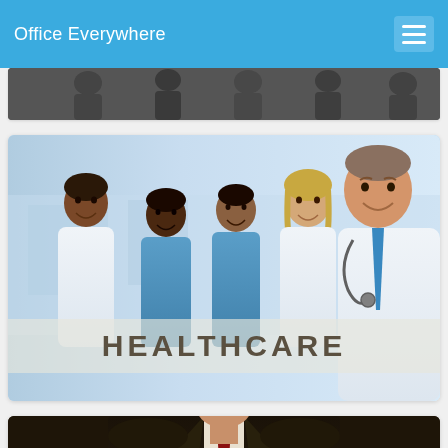Office Everywhere
[Figure (photo): Partially visible image at top of page, appears to be a group of people]
[Figure (photo): Group of smiling medical professionals in white coats and scrubs with text overlay reading HEALTHCARE]
[Figure (photo): Partially visible image at bottom of page, appears to be a man in a dark suit with red tie]